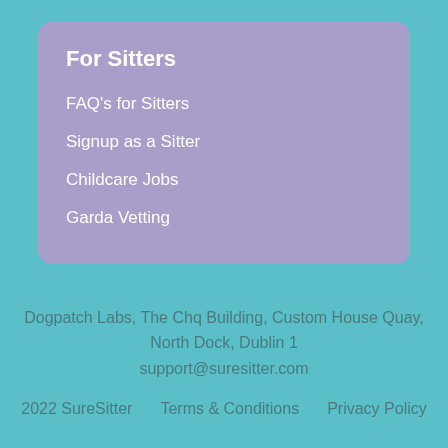For Sitters
FAQ's for Sitters
Signup as a Sitter
Childcare Jobs
Garda Vetting
Dogpatch Labs, The Chq Building, Custom House Quay, North Dock, Dublin 1
support@suresitter.com
2022 SureSitter   Terms & Conditions   Privacy Policy